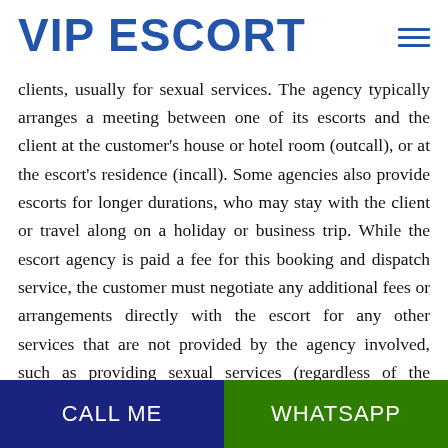VIP ESCORT
clients, usually for sexual services. The agency typically arranges a meeting between one of its escorts and the client at the customer's house or hotel room (outcall), or at the escort's residence (incall). Some agencies also provide escorts for longer durations, who may stay with the client or travel along on a holiday or business trip. While the escort agency is paid a fee for this booking and dispatch service, the customer must negotiate any additional fees or arrangements directly with the escort for any other services that are not provided by the agency involved, such as providing sexual services (regardless of the legality of these
CALL ME  WHATSAPP